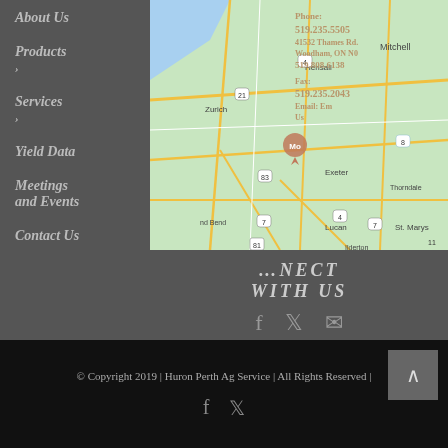About Us
Products ›
Services ›
Yield Data
Meetings and Events
Contact Us
[Figure (map): Google Maps view showing Woodham, ON area with surrounding towns Zurich, Hensall, Mitchell, Exeter, St. Marys, Lucan, Thorndale, Ilderton. A location pin is placed near Woodham.]
Phone: 519.235.5505
41532 Thames Rd.
Woodham, ON N0
519.808.6138
Fax:
519.235.2043
Email: Email Us
CONNECT WITH US
© Copyright 2019 | Huron Perth Ag Service | All Rights Reserved |